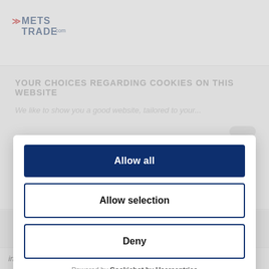[Figure (logo): METS TRADE .com logo with double arrow in red]
YOUR CHOICES REGARDING COOKIES ON THIS WEBSITE
We like to show you a good website, tailored to your...
Allow all
Allow selection
Deny
Powered by Cookiebot by Usercentrics
include instructions to check boats and equipment for